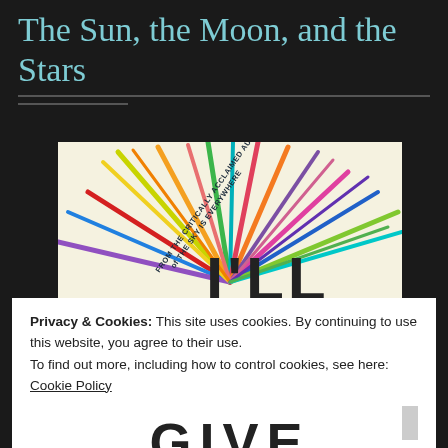The Sun, the Moon, and the Stars
[Figure (illustration): Book cover of 'I'll Give You the Sun' by Jandy Nelson, featuring colorful radiating lines (like a sunburst) in many colors on a cream background, with the title text partially visible at the bottom. Diagonal text reads 'FROM THE CRITICALLY ACCLAIMED AUTHOR of THE SKY IS EVERYWHERE'.]
Privacy & Cookies: This site uses cookies. By continuing to use this website, you agree to their use.
To find out more, including how to control cookies, see here: Cookie Policy
Close and accept